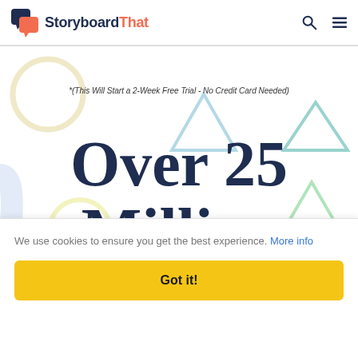StoryboardThat
*(This Will Start a 2-Week Free Trial - No Credit Card Needed)
Over 25 Milli...
We use cookies to ensure you get the best experience. More info
Got it!